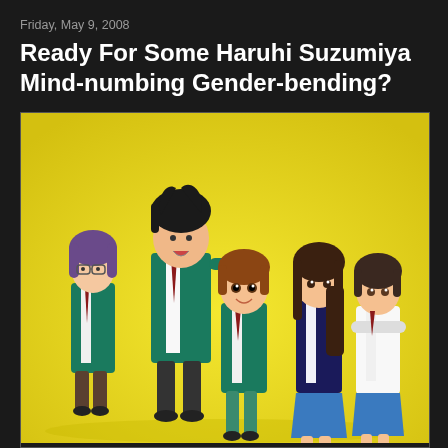Friday, May 9, 2008
Ready For Some Haruhi Suzumiya Mind-numbing Gender-bending?
[Figure (illustration): Anime illustration showing five characters from Haruhi Suzumiya in gender-bent versions, wearing school uniforms (green blazers with red ties) against a yellow background. Characters are posed together in a group.]